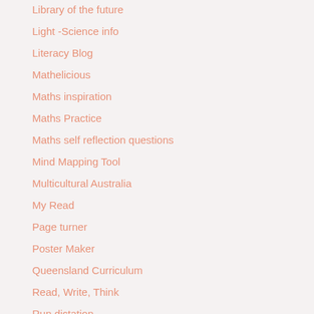Library of the future
Light -Science info
Literacy Blog
Mathelicious
Maths inspiration
Maths Practice
Maths self reflection questions
Mind Mapping Tool
Multicultural Australia
My Read
Page turner
Poster Maker
Queensland Curriculum
Read, Write, Think
Run dictation
Science Games
Scootle